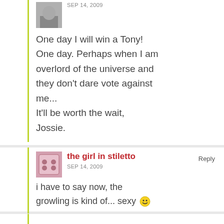SEP 14, 2009
One day I will win a Tony! One day. Perhaps when I am overlord of the universe and they don't dare vote against me...
It'll be worth the wait, Jossie.
the girl in stiletto
SEP 14, 2009
Reply
i have to say now, the growling is kind of... sexy 😀